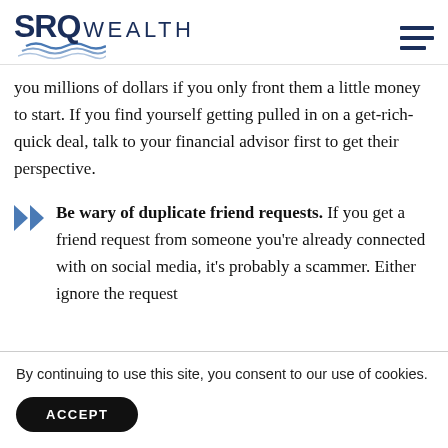SRQ WEALTH
you millions of dollars if you only front them a little money to start. If you find yourself getting pulled in on a get-rich-quick deal, talk to your financial advisor first to get their perspective.
Be wary of duplicate friend requests. If you get a friend request from someone you’re already connected with on social media, it’s probably a scammer. Either ignore the request
By continuing to use this site, you consent to our use of cookies.